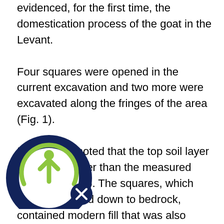evidenced, for the first time, the domestication process of the goat in the Levant. Four squares were opened in the current excavation and two more were excavated along the fringes of the area (Fig. 1). It should be noted that the top soil layer was 1.5 m lower than the measured surface in 1995. The squares, which were excavated down to bedrock, contained modern fill that was also found in the probe trenches, cut in the area of the 1995 excavation. It became apparent that development work [...]med around the school, which included the [...] of a fence and paths to nearby houses, [...]
[Figure (logo): A circular logo with a dark navy blue ring and a yellow-green upward arrow/person figure inside, with a smaller dark circle containing an X symbol at the bottom right.]